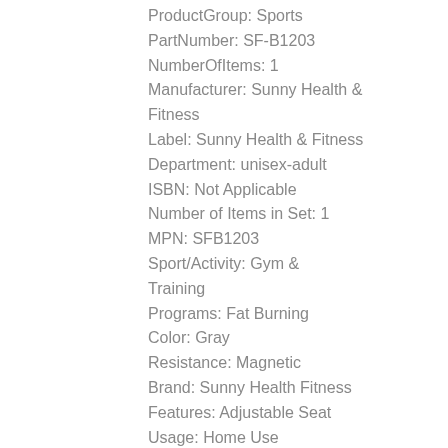ProductGroup: Sports
PartNumber: SF-B1203
NumberOfItems: 1
Manufacturer: Sunny Health & Fitness
Label: Sunny Health & Fitness
Department: unisex-adult
ISBN: Not Applicable
Number of Items in Set: 1
MPN: SFB1203
Sport/Activity: Gym & Training
Programs: Fat Burning
Color: Gray
Resistance: Magnetic
Brand: Sunny Health Fitness
Features: Adjustable Seat
Usage: Home Use